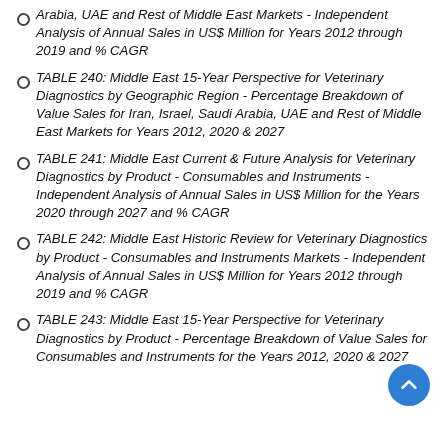Arabia, UAE and Rest of Middle East Markets - Independent Analysis of Annual Sales in US$ Million for Years 2012 through 2019 and % CAGR
TABLE 240: Middle East 15-Year Perspective for Veterinary Diagnostics by Geographic Region - Percentage Breakdown of Value Sales for Iran, Israel, Saudi Arabia, UAE and Rest of Middle East Markets for Years 2012, 2020 & 2027
TABLE 241: Middle East Current & Future Analysis for Veterinary Diagnostics by Product - Consumables and Instruments - Independent Analysis of Annual Sales in US$ Million for the Years 2020 through 2027 and % CAGR
TABLE 242: Middle East Historic Review for Veterinary Diagnostics by Product - Consumables and Instruments Markets - Independent Analysis of Annual Sales in US$ Million for Years 2012 through 2019 and % CAGR
TABLE 243: Middle East 15-Year Perspective for Veterinary Diagnostics by Product - Percentage Breakdown of Value Sales for Consumables and Instruments for the Years 2012, 2020 & 2027